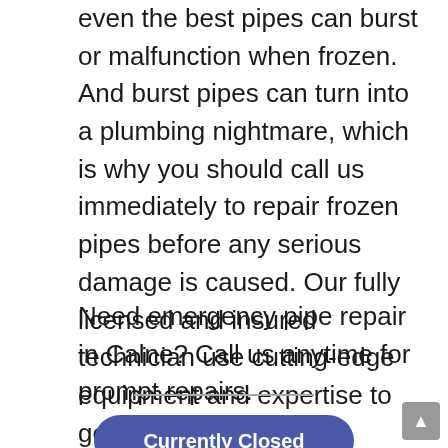even the best pipes can burst or malfunction when frozen. And burst pipes can turn into a plumbing nightmare, which is why you should call us immediately to repair frozen pipes before any serious damage is caused. Our fully licensed and insured technician use cutting-edge equipment and expertise to get it fixed in a breeze.
Need emergency pipe repair in Calne? Call us anytime for prompt repairs.
[Figure (other): Horizontal divider line]
[Figure (other): Currently Closed button (rounded rectangle, dark blue/indigo background, white bold text)]